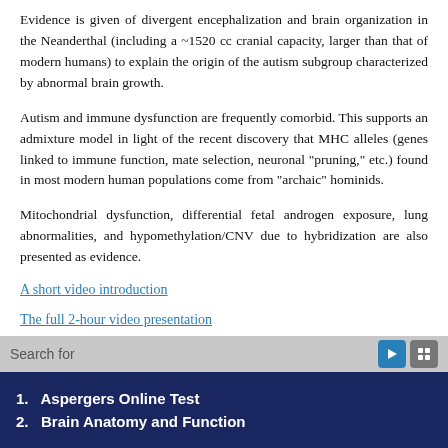Evidence is given of divergent encephalization and brain organization in the Neanderthal (including a ~1520 cc cranial capacity, larger than that of modern humans) to explain the origin of the autism subgroup characterized by abnormal brain growth.
Autism and immune dysfunction are frequently comorbid. This supports an admixture model in light of the recent discovery that MHC alleles (genes linked to immune function, mate selection, neuronal "pruning," etc.) found in most modern human populations come from "archaic" hominids.
Mitochondrial dysfunction, differential fetal androgen exposure, lung abnormalities, and hypomethylation/CNV due to hybridization are also presented as evidence.
A short video introduction
The full 2-hour video presentation
Reply
Search for
1.   Aspergers Online Test
2.   Brain Anatomy and Function